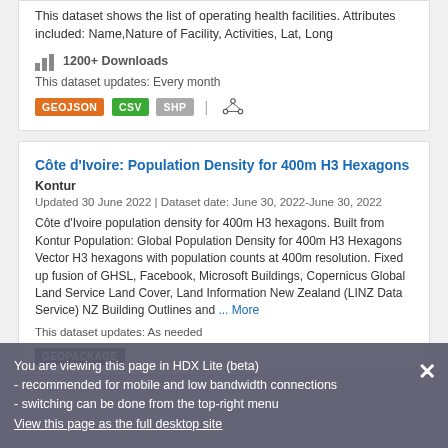This dataset shows the list of operating health facilities. Attributes included: Name,Nature of Facility, Activities, Lat, Long
1200+ Downloads
This dataset updates: Every month
GEOJSON CSV SHP
Côte d'Ivoire: Population Density for 400m H3 Hexagons
Kontur
Updated 30 June 2022 | Dataset date: June 30, 2022-June 30, 2022
Côte d'Ivoire population density for 400m H3 hexagons. Built from Kontur Population: Global Population Density for 400m H3 Hexagons Vector H3 hexagons with population counts at 400m resolution. Fixed up fusion of GHSL, Facebook, Microsoft Buildings, Copernicus Global Land Service Land Cover, Land Information New Zealand (LINZ Data Service) NZ Building Outlines and ... More
This dataset updates: As needed
GEOPACKAGE
You are viewing this page in HDX Lite (beta)
- recommended for mobile and low bandwidth connections
- switching can be done from the top-right menu
View this page as the full desktop site